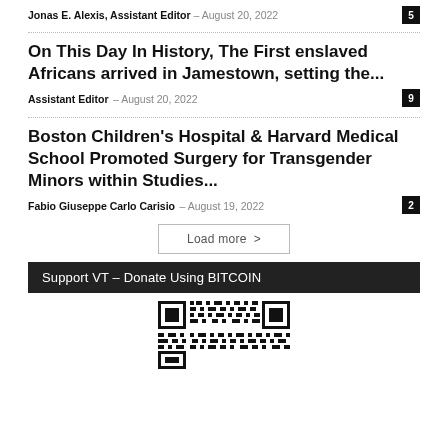Jonas E. Alexis, Assistant Editor – August 20, 2022  5
On This Day In History, The First enslaved Africans arrived in Jamestown, setting the...
Assistant Editor – August 20, 2022  9
Boston Children's Hospital & Harvard Medical School Promoted Surgery for Transgender Minors within Studies...
Fabio Giuseppe Carlo Carisio – August 19, 2022  2
Load more >
Support VT – Donate Using BITCOIN
[Figure (other): QR code for Bitcoin donation]